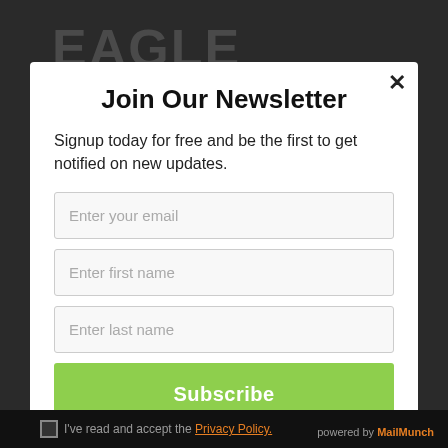[Figure (screenshot): Dark background with 'EAGLE' text watermark visible behind modal]
Join Our Newsletter
Signup today for free and be the first to get notified on new updates.
Enter your email
Enter first name
Enter last name
Subscribe
I've read and accept the Privacy Policy.
powered by MailMunch